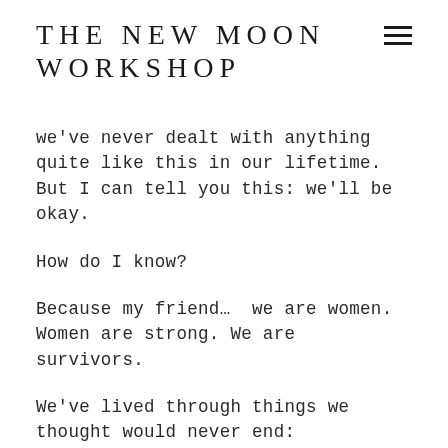THE NEW MOON WORKSHOP
we've never dealt with anything quite like this in our lifetime.  But I can tell you this: we'll be okay.
How do I know?
Because my friend…  we are women. Women are strong. We are survivors.
We've lived through things we thought would never end: hurricanes and earthquakes, heartbreaks, and bad haircuts.
We may not have handled it with perfect grace, but we did it. We lived to tell the